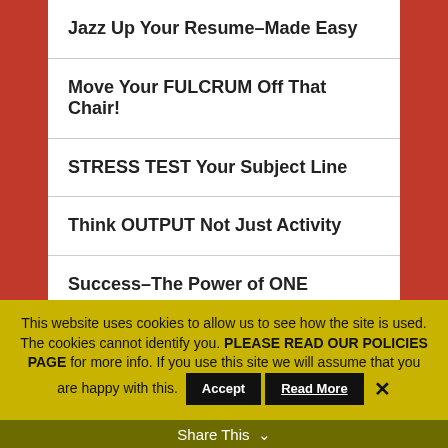Jazz Up Your Resume–Made Easy
Move Your FULCRUM Off That Chair!
STRESS TEST Your Subject Line
Think OUTPUT Not Just Activity
Success–The Power of ONE
JOB: Hold Yours but Test Waters
Are Sycophants Critiquing?
This website uses cookies to allow us to see how the site is used. The cookies cannot identify you. PLEASE READ OUR POLICIES PAGE for more info. If you use this site we will assume that you are happy with this.
Share This